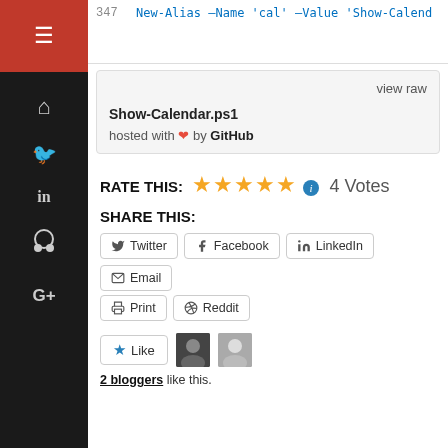347    New-Alias -Name 'cal' -Value 'Show-Calend
view raw
Show-Calendar.ps1
hosted with ❤ by GitHub
RATE THIS: ★★★★★ ℹ 4 Votes
SHARE THIS:
Twitter
Facebook
LinkedIn
Email
Print
Reddit
Like
2 bloggers like this.